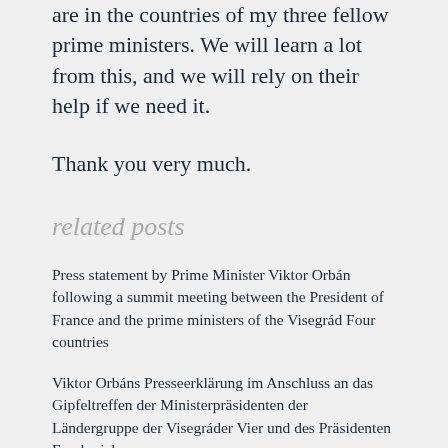are in the countries of my three fellow prime ministers. We will learn a lot from this, and we will rely on their help if we need it.
Thank you very much.
related posts
Press statement by Prime Minister Viktor Orbán following a summit meeting between the President of France and the prime ministers of the Visegrád Four countries
Viktor Orbáns Presseerklärung im Anschluss an das Gipfeltreffen der Ministerpräsidenten der Ländergruppe der Visegráder Vier und des Präsidenten Frankreichs